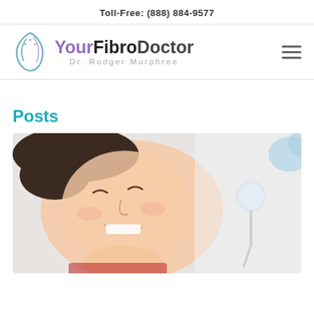Toll-Free: (888) 884-9577
[Figure (logo): YourFibroDoctor logo with stylized leaf/flame icon and text 'YourFibroDoctor Dr. Rodger Murphree']
Posts
[Figure (photo): A smiling woman lying back in a dental chair, with a dental mirror tool visible in the background. A dental professional's hands are partially visible.]